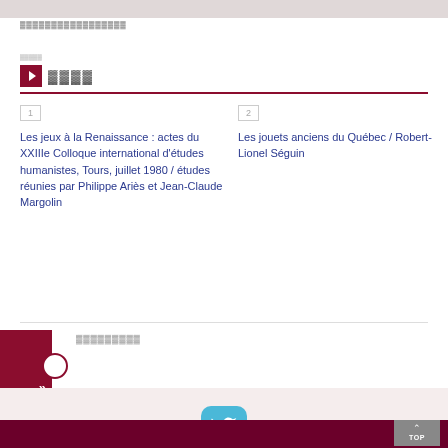▓▓▓▓▓▓▓▓▓▓▓▓▓▓▓▓▓
▓▓▓▓
1 Les jeux à la Renaissance : actes du XXIIIe Colloque international d'études humanistes, Tours, juillet 1980 / études réunies par Philippe Ariès et Jean-Claude Margolin
2 Les jouets anciens du Québec / Robert-Lionel Séguin
▓▓▓▓▓▓▓▓▓
[Figure (logo): Twitter bird icon button in light blue rounded square]
TOP